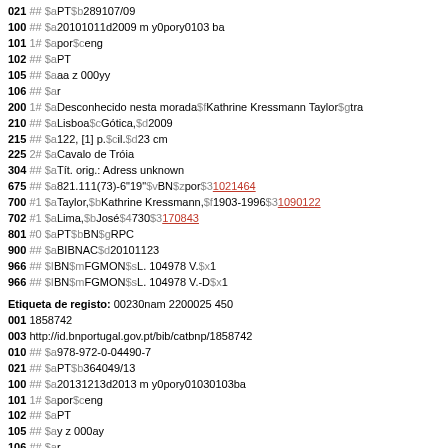021 ## $aPT$b289107/09
100 ## $a20101011d2009 m y0pory0103 ba
101 1# $apor$ceng
102 ## $aPT
105 ## $aaa z 000yy
106 ## $ar
200 1# $aDesconhecido nesta morada$fKathrine Kressmann Taylor$gtra
210 ## $aLisboa$cGótica,$d2009
215 ## $a122, [1] p.$cil.$d23 cm
225 2# $aCavalo de Tróia
304 ## $aTít. orig.: Adress unknown
675 ## $a821.111(73)-6"19"$vBN$zpor$31021464
700 #1 $aTaylor,$bKathrine Kressmann,$f1903-1996$31090122
702 #1 $aLima,$bJosé$4730$3170843
801 #0 $aPT$bBN$gRPC
900 ## $aBIBNAC$d20101123
966 ## $IBN$mFGMON$sL. 104978 V.$x1
966 ## $IBN$mFGMON$sL. 104978 V.-D$x1
Etiqueta de registo: 00230nam 2200025 450
001 1858742
003 http://id.bnportugal.gov.pt/bib/catbnp/1858742
010 ## $a978-972-0-04490-7
021 ## $aPT$b364049/13
100 ## $a20131213d2013 m y0pory01030103ba
101 1# $apor$ceng
102 ## $aPT
105 ## $ay z 000ay
106 ## $ar
200 1# $a<A >sentinela$fRichard Zimler$gtrad. José Lima